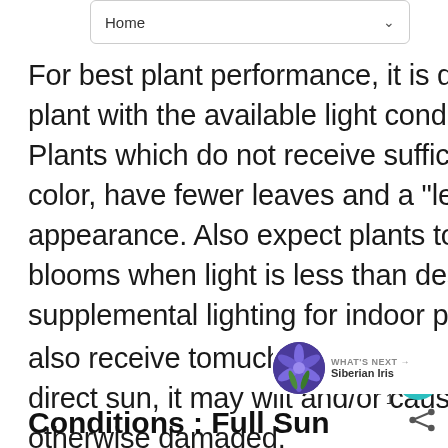Home
For best plant performance, it is desirable to match the correct plant with the available light conditions. Right plant, right place! Plants which do not receive sufficient light may become pale in color, have fewer leaves and a "leggy" stretched-out appearance. Also expect plants to grow slower and have fewer blooms when light is less than desirable. It is possible to provide supplemental lighting for indoor plants with lamps. Plants can also receive too much light. If a shade loving plant is exposed to direct sun, it may wilt and/or cause leaves be sunburned or otherwise damaged.
[Figure (other): What's Next thumbnail with Siberian Iris flower image and navigation label]
Conditions : Full Sun